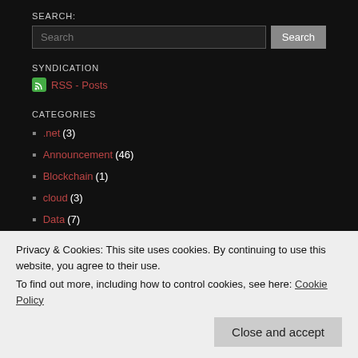SEARCH:
Search [input] Search [button]
SYNDICATION
RSS - Posts
CATEGORIES
.net (3)
Announcement (46)
Blockchain (1)
cloud (3)
Data (7)
Enhancements (13)
Events (13)
Everlive (7)
Privacy & Cookies: This site uses cookies. By continuing to use this website, you agree to their use.
To find out more, including how to control cookies, see here: Cookie Policy
Close and accept
Productivity (24)